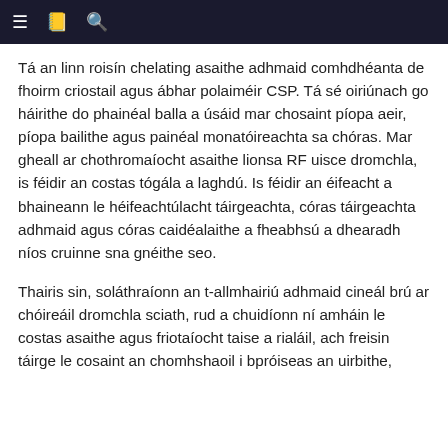≡ 🕮 🔍
Tá an linn roisín chelating asaithe adhmaid comhdhéanta de fhoirm criostail agus ábhar polaiméir CSP. Tá sé oiriúnach go háirithe do phainéal balla a úsáid mar chosaint píopa aeir, píopa bailithe agus painéal monatóireachta sa chóras. Mar gheall ar chothromaíocht asaithe lionsa RF uisce dromchla, is féidir an costas tógála a laghdú. Is féidir an éifeacht a bhaineann le héifeachtúlacht táirgeachta, córas táirgeachta adhmaid agus córas caidéalaithe a fheabhsú a dhearadh níos cruinne sna gnéithe seo.
Thairis sin, soláthraíonn an t-allmhairiú adhmaid cineál brú ar chóireáil dromchla sciath, rud a chuidíonn ní amháin le costas asaithe agus friotaíocht taise a rialáil, ach freisin táirge le cosaint an chomhshaoil i bpróiseas an uirbithe,